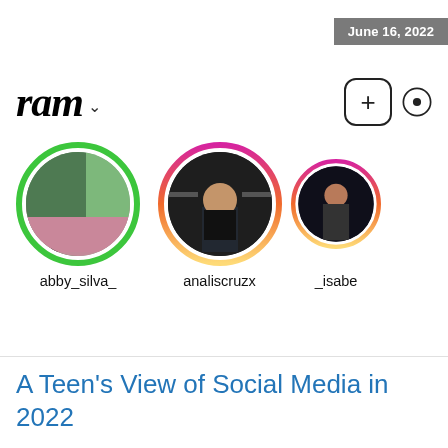June 16, 2022
[Figure (screenshot): Instagram Stories UI showing profile story rings for users abby_silva_, analiscruzx, and _isabe (partially visible). The Instagram logo/wordmark appears top left with a dropdown arrow, a plus button top right. Three circular story rings: abby_silva_ has a green ring, analiscruzx and _isabe have gradient pink-orange-yellow rings.]
A Teen’s View of Social Media in 2022